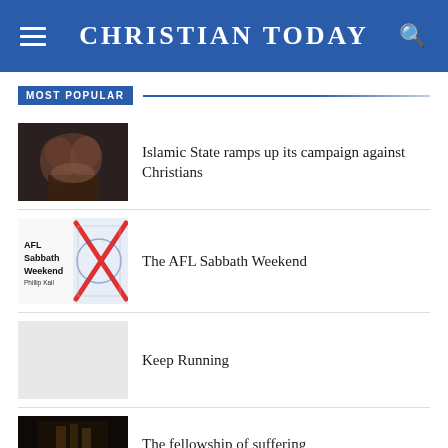CHRISTIAN TODAY
MOST POPULAR
Islamic State ramps up its campaign against Christians
The AFL Sabbath Weekend
Keep Running
The fellowship of suffering